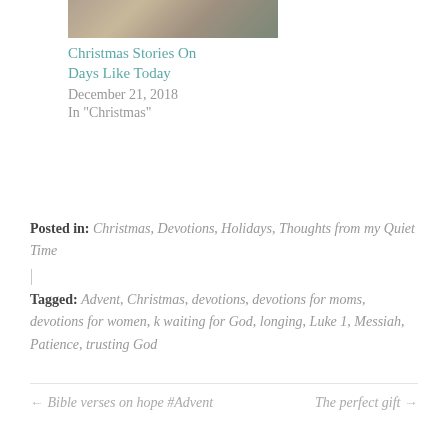[Figure (photo): A blurry outdoor nature/Christmas scene photo thumbnail]
Christmas Stories On Days Like Today
December 21, 2018
In "Christmas"
Posted in: Christmas, Devotions, Holidays, Thoughts from my Quiet Time
|
Tagged: Advent, Christmas, devotions, devotions for moms, devotions for women, k waiting for God, longing, Luke 1, Messiah, Patience, trusting God
← Bible verses on hope #Advent
The perfect gift →